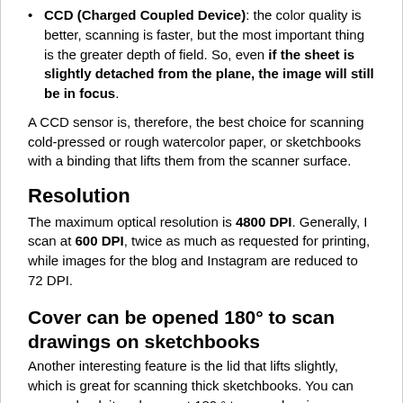CCD (Charged Coupled Device): the color quality is better, scanning is faster, but the most important thing is the greater depth of field. So, even if the sheet is slightly detached from the plane, the image will still be in focus.
A CCD sensor is, therefore, the best choice for scanning cold-pressed or rough watercolor paper, or sketchbooks with a binding that lifts them from the scanner surface.
Resolution
The maximum optical resolution is 4800 DPI. Generally, I scan at 600 DPI, twice as much as requested for printing, while images for the blog and Instagram are reduced to 72 DPI.
Cover can be opened 180° to scan drawings on sketchbooks
Another interesting feature is the lid that lifts slightly, which is great for scanning thick sketchbooks. You can even unhook it and open at 180 ° to scan drawings more comfortably.
The lid lifts off the side of the hinge allowing for scanning of thick